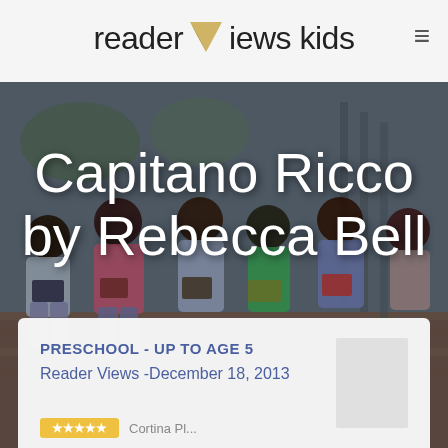reader Views kids
[Figure (photo): Six children sitting on a brick wall reading books outdoors, with large white text overlay reading 'Capitano Ricco by Rebecca Bell']
Capitano Ricco by Rebecca Bell
PRESCHOOL - UP TO AGE 5
Reader Views -December 18, 2013